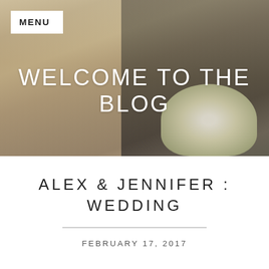[Figure (photo): Wedding couple photo: bride with blonde hair in white lace dress and groom in grey tuxedo with bow tie, holding white floral bouquet, background shows venue columns]
MENU
WELCOME TO THE BLOG
ALEX & JENNIFER : WEDDING
FEBRUARY 17, 2017